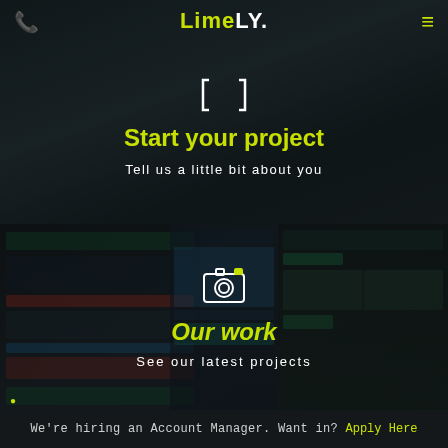LimeLY.
Start your project
Tell us a little bit about you
[Figure (screenshot): Portfolio website screenshots showing web design projects in the background of the Our Work section]
Our work
See our latest projects
We're hiring an Account Manager. Want in? Apply Here